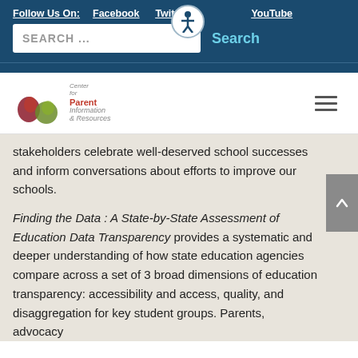Follow Us On: Facebook Twitter YouTube | SEARCH ... Search
[Figure (logo): Center for Parent Information & Resources logo with colorful handprint icons]
stakeholders celebrate well-deserved school successes and inform conversations about efforts to improve our schools.
Finding the Data : A State-by-State Assessment of Education Data Transparency provides a systematic and deeper understanding of how state education agencies compare across a set of 3 broad dimensions of education transparency: accessibility and access, quality, and disaggregation for key student groups. Parents, advocacy